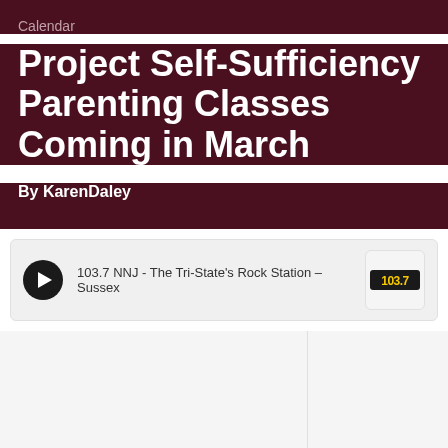Calendar
Project Self-Sufficiency Parenting Classes Coming in March
By KarenDaley
[Figure (other): Audio player bar for 103.7 NNJ - The Tri-State's Rock Station – Sussex with play button and station logo]